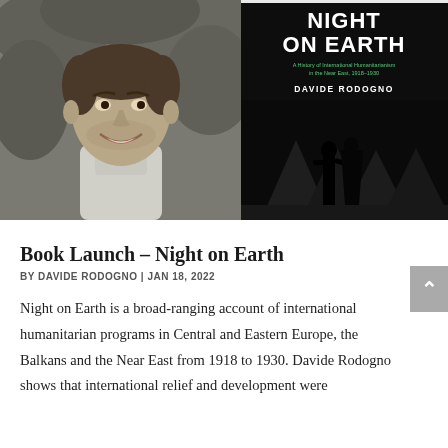[Figure (photo): Left half: black and white photo of a smiling man (Davide Rodogno) outdoors. Right half: book cover of 'Night on Earth: A History of International Humanitarianism in the Near East, 1918–1930' by Davide Rodogno, with a dark background and a silhouette of two figures.]
Book Launch – Night on Earth
BY DAVIDE RODOGNO | JAN 18, 2022
Night on Earth is a broad-ranging account of international humanitarian programs in Central and Eastern Europe, the Balkans and the Near East from 1918 to 1930. Davide Rodogno shows that international relief and development were